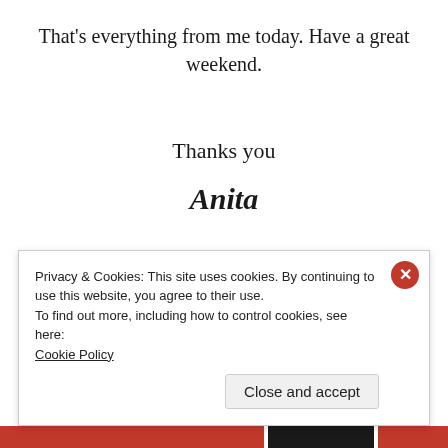That's everything from me today. Have a great weekend.
Thanks you
Anita
Privacy & Cookies: This site uses cookies. By continuing to use this website, you agree to their use.
To find out more, including how to control cookies, see here:
Cookie Policy
Close and accept